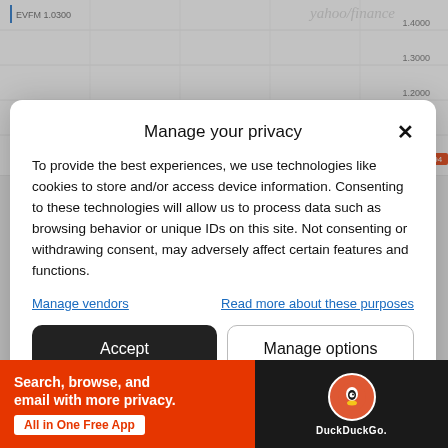[Figure (screenshot): Yahoo Finance stock chart background partially visible, showing a line chart with values around 1.0300 to 1.4000, with yahoo/finance watermark]
Manage your privacy
To provide the best experiences, we use technologies like cookies to store and/or access device information. Consenting to these technologies will allow us to process data such as browsing behavior or unique IDs on this site. Not consenting or withdrawing consent, may adversely affect certain features and functions.
Manage vendors | Read more about these purposes
Accept | Manage options
Cookie Policy  Privacy Statement
[Figure (screenshot): DuckDuckGo advertisement banner: orange left panel with white text 'Search, browse, and email with more privacy. All in One Free App' and dark right panel with DuckDuckGo logo]